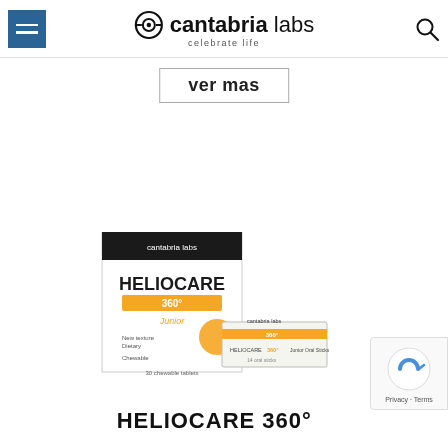Cantabria Labs — celebrate life
ver mas
[Figure (photo): Heliocare 360° Junior product packaging — a box and a sachet/stick pack]
HELIOCARE 360°